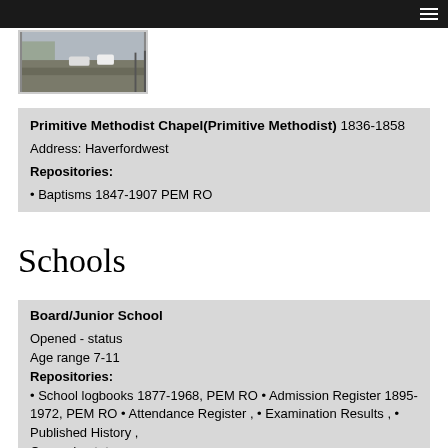[Figure (photo): Photograph of a road with cars and a fence, partially cropped, inside a bordered frame.]
Primitive Methodist Chapel(Primitive Methodist) 1836-1858

Address: Haverfordwest

Repositories:

• Baptisms 1847-1907 PEM RO
Schools
Board/Junior School

Opened - status
Age range 7-11
Repositories:
• School logbooks 1877-1968, PEM RO • Admission Register 1895-1972, PEM RO • Attendance Register , • Examination Results , • Published History ,
Opened - status
Age range 7-11